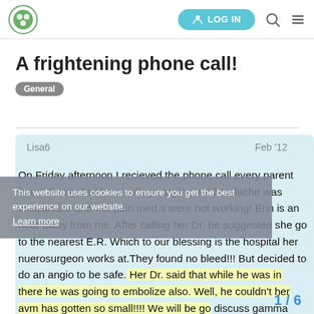LOG IN
A frightening phone call!
General
Lisa6  Feb '12
This website uses cookies to ensure you get the best experience on our website. Learn more
On Friday afternoon I recieved the phone call every parent fears! Erin called from college saying her headache was unbearable and her pain med.s were not working! Erin is an hour away from me. After calling her Dr. he suggested she go to the nearest E.R. Which to our blessing is the hospital her nuerosurgeon works at.They found no bleed!!! But decided to do an angio to be safe. Her Dr. said that while he was in there he was going to embolize also. Well, he couldn't her avm has gotten so small!!!! We will be go discuss gamma knife to finish off this mo
1 / 6